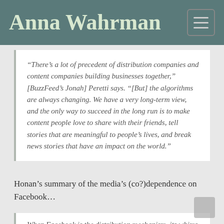Anna Wahrman
“There’s a lot of precedent of distribution companies and content companies building businesses together,” [BuzzFeed’s Jonah] Peretti says. “[But] the algorithms are always changing. We have a very long-term view, and the only way to succeed in the long run is to make content people love to share with their friends, tell stories that are meaningful to people’s lives, and break news stories that have an impact on the world.”
Honan’s summary of the media’s (co?)dependence on Facebook…
When Facebook is the distribution mechanism, its whims dictate what your audience sees. A single